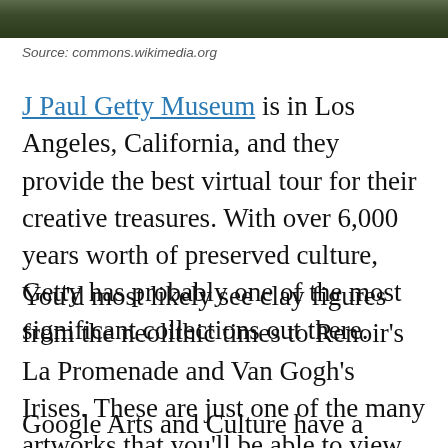[Figure (photo): Partial photo strip at top of page showing a landscape or building scene, cropped.]
Source: commons.wikimedia.org
J Paul Getty Museum is in Los Angeles, California, and they provide the best virtual tour for their creative treasures. With over 6,000 years worth of preserved culture, Getty has probably one of the most significant collections out there.
You'd most likely see clay figures from the neolithic times to Renoir's La Promenade and Van Gogh's Irises. These are just one of the many artworks that you'll be able to view.
Google Arts and Culture have a “museum view” f